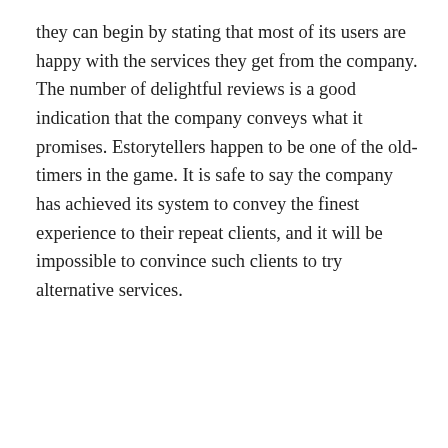they can begin by stating that most of its users are happy with the services they get from the company. The number of delightful reviews is a good indication that the company conveys what it promises. Estorytellers happen to be one of the old-timers in the game. It is safe to say the company has achieved its system to convey the finest experience to their repeat clients, and it will be impossible to convince such clients to try alternative services.